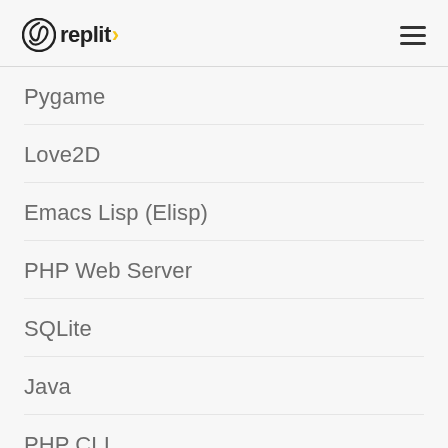replit
Pygame
Love2D
Emacs Lisp (Elisp)
PHP Web Server
SQLite
Java
PHP CLI
Pyxel
Raku